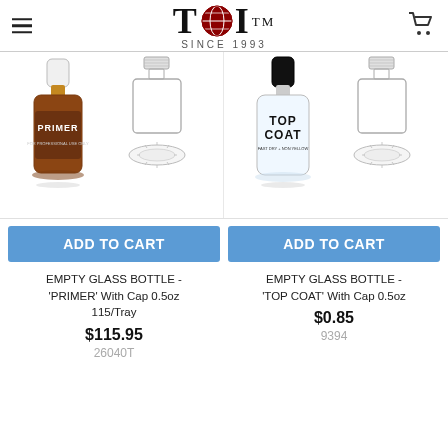TDI™ SINCE 1993
[Figure (photo): Product photo of Empty Glass Bottle - PRIMER with cap, shown with bottle and cap components]
[Figure (photo): Product photo of Empty Glass Bottle - TOP COAT with cap, shown with bottle and cap components]
ADD TO CART
ADD TO CART
EMPTY GLASS BOTTLE - 'PRIMER' With Cap 0.5oz 115/Tray
$115.95
26040T
EMPTY GLASS BOTTLE - 'TOP COAT' With Cap 0.5oz
$0.85
9394